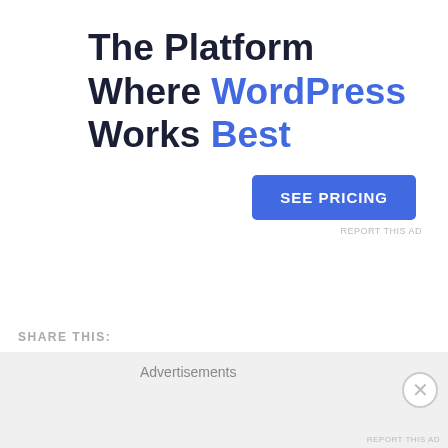[Figure (infographic): Advertisement banner: 'The Platform Where WordPress Works Best' with a blue 'SEE PRICING' button and a small 'REPORT THIS AD' label in the top right.]
SHARE THIS:
[Figure (infographic): Social share buttons: Tweet (blue), Save (Pinterest, red), Telegram (bordered), WhatsApp (bordered), Email (bordered)]
[Figure (infographic): Like button with star icon and four blogger avatar thumbnails]
4 bloggers like this.
Advertisements